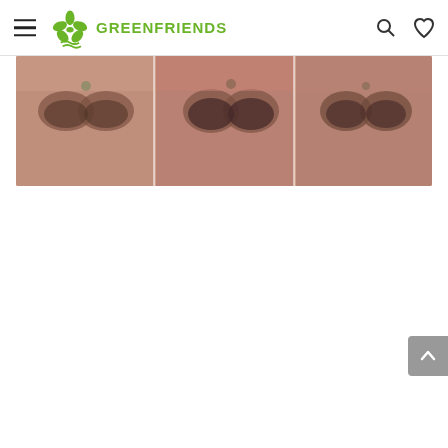GreenFriends
[Figure (photo): Blurred collage of three close-up photos showing a person's face with traditional makeup including dark eye makeup and a bindi on the forehead, displayed in a horizontal strip]
[Figure (other): Scroll-to-top button (grey rounded rectangle with upward chevron arrow) at the bottom right of the page]